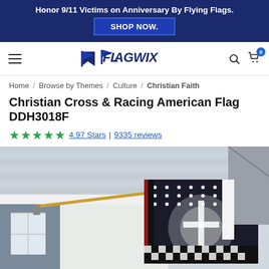Honor 9/11 Victims on Anniversary By Flying Flags. SHOP NOW.
[Figure (logo): Flagwix logo with flag icon and navigation bar including hamburger menu, search, and cart icons]
Home / Browse by Themes / Culture / Christian Faith
Christian Cross & Racing American Flag DDH3018F
4.97 Stars | 9335 reviews
[Figure (photo): Product photo showing a Christian Cross & Racing American Flag mounted on a house porch on a gold flagpole. The flag features a black and white racing checkered pattern with American stars and a glowing Christian cross in the center.]